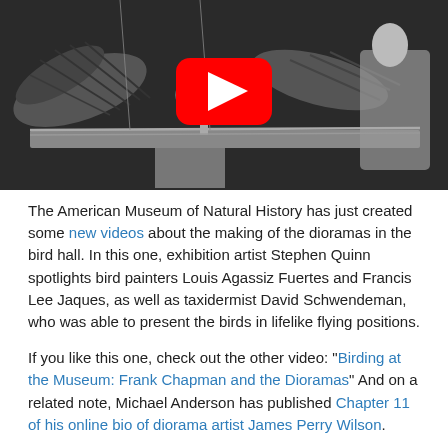[Figure (screenshot): Black and white YouTube video thumbnail showing a museum diorama with bird specimens and a person working on them. A large red YouTube play button is centered on the image.]
The American Museum of Natural History has just created some new videos about the making of the dioramas in the bird hall. In this one, exhibition artist Stephen Quinn spotlights bird painters Louis Agassiz Fuertes and Francis Lee Jaques, as well as taxidermist David Schwendeman, who was able to present the birds in lifelike flying positions.
If you like this one, check out the other video: "Birding at the Museum: Frank Chapman and the Dioramas" And on a related note, Michael Anderson has published Chapter 11 of his online bio of diorama artist James Perry Wilson.
Stephen Quinn is also the author of Windows on Nature: The